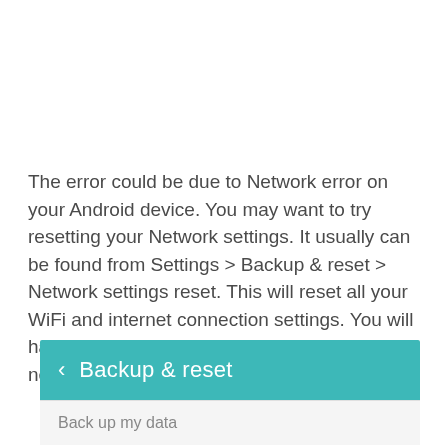The error could be due to Network error on your Android device. You may want to try resetting your Network settings. It usually can be found from Settings > Backup & reset > Network settings reset. This will reset all your WiFi and internet connection settings. You will have to reconnect to your WiFi and other network again after reset.
[Figure (screenshot): Android Settings screen showing 'Backup & reset' header bar in teal color with a back arrow, and below it a partially visible 'Back up my data' list item on a light grey background.]